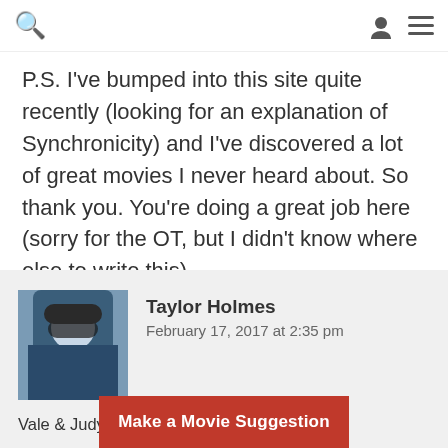Search | User | Menu
P.S. I've bumped into this site quite recently (looking for an explanation of Synchronicity) and I've discovered a lot of great movies I never heard about. So thank you. You're doing a great job here (sorry for the OT, but I didn't know where else to write this).
Taylor Holmes
February 17, 2017 at 2:35 pm

Vale & Judy,

You do realize I gave you guys my list so you'd show me yours right?!? This whole “blog post” thing is just a ruse so that I can find new movies! Hahaha. And you guys are doing a g...
Make a Movie Suggestion